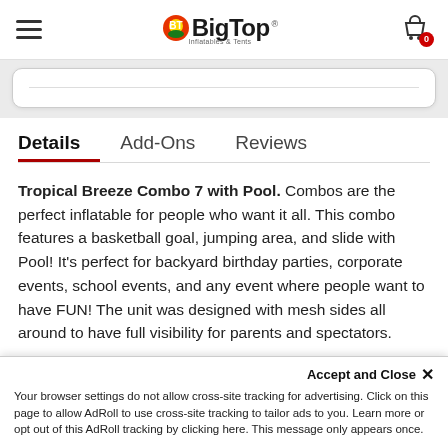BigTop Inflatables & Tents — hamburger menu, cart with 0 items
[Figure (screenshot): Search bar UI element on white card with rounded corners]
Details | Add-Ons | Reviews
Tropical Breeze Combo 7 with Pool. Combos are the perfect inflatable for people who want it all. This combo features a basketball goal, jumping area, and slide with Pool! It's perfect for backyard birthday parties, corporate events, school events, and any event where people want to have FUN! The unit was designed with mesh sides all around to have full visibility for parents and spectators.
Product Disclaimer: Due to constant product development
Your browser settings do not allow cross-site tracking for advertising. Click on this page to allow AdRoll to use cross-site tracking to tailor ads to you. Learn more or opt out of this AdRoll tracking by clicking here. This message only appears once.